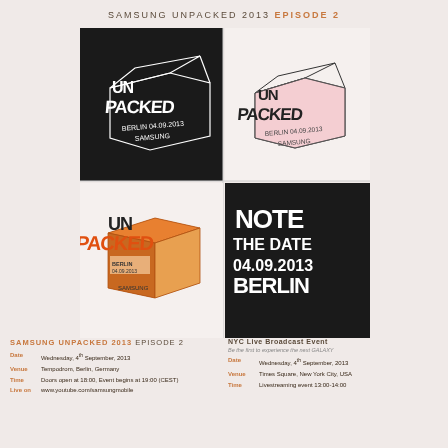SAMSUNG UNPACKED 2013 EPISODE 2
[Figure (illustration): Four panel illustration showing Samsung Unpacked 2013 box logo: top-left black background with white sketch of box saying UN PACKED BERLIN, top-right white background with pink sketch, bottom-left white background with orange box saying UN PACKED BERLIN 04.09.2013 SAMSUNG, bottom-right black background with white handwritten text NOTE THE DATE 04.09.2013 BERLIN]
SAMSUNG UNPACKED 2013 EPISODE 2
Date   Wednesday, 4th September, 2013
Venue  Tempodrom, Berlin, Germany
Time   Doors open at 18:00, Event begins at 19:00 (CEST)
Live on  www.youtube.com/samsungmobile
NYC Live Broadcast Event
Be the first to experience the next GALAXY
Date   Wednesday, 4th September, 2013
Venue  Times Square, New York City, USA
Time   Livestreaming event 13:00-14:00